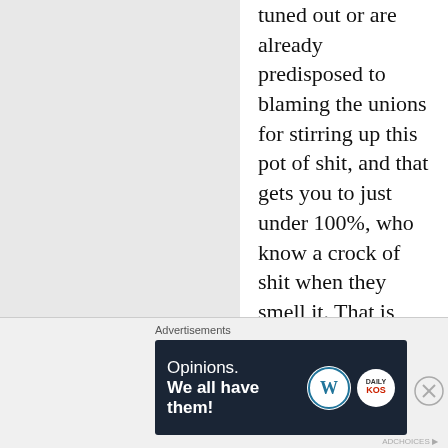tuned out or are already predisposed to blaming the unions for stirring up this pot of shit, and that gets you to just under 100%, who know a crock of shit when they smell it. That is what will get us to BART becoming exempt from strikes in the future. This will be the final cycle when they can attempt to bully the public at large. The final nail will be driven into their coffins by them.

We'll need to learn our 'friend's' name before this is over, because it
[Figure (other): Advertisement banner: dark navy background with 'Opinions. We all have them!' text in white and WordPress and Daily Kos logos on the right.]